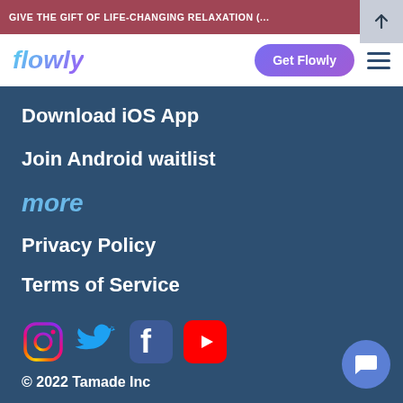GIVE THE GIFT OF LIFE-CHANGING RELAXATION (...
[Figure (screenshot): Flowly app website navigation menu open, showing iOS App download, Android waitlist, more section with Privacy Policy and Terms of Service, social media icons, and copyright notice.]
Download iOS App
Join Android waitlist
more
Privacy Policy
Terms of Service
© 2022 Tamade Inc